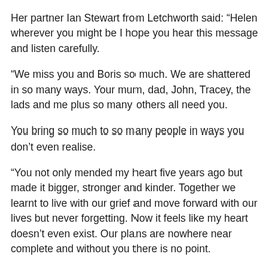Her partner Ian Stewart from Letchworth said: “Helen wherever you might be I hope you hear this message and listen carefully.
“We miss you and Boris so much. We are shattered in so many ways. Your mum, dad, John, Tracey, the lads and me plus so many others all need you.
You bring so much to so many people in ways you don’t even realise.
“You not only mended my heart five years ago but made it bigger, stronger and kinder. Together we learnt to live with our grief and move forward with our lives but never forgetting. Now it feels like my heart doesn’t even exist. Our plans are nowhere near complete and without you there is no point.
“We promised each other 30 years – please keep that